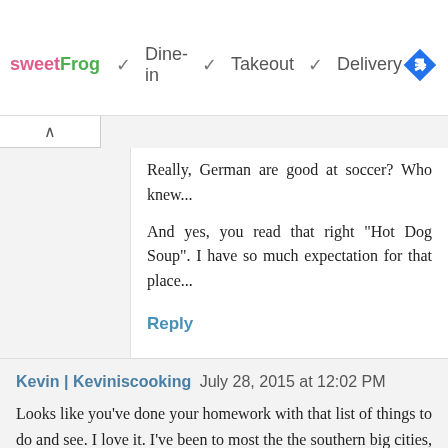[Figure (screenshot): Ad banner with sweetFrog logo and service options: Dine-in, Takeout, Delivery with checkmarks, and a navigation icon (blue diamond with arrow)]
Really, German are good at soccer? Who knew...
And yes, you read that right "Hot Dog Soup". I have so much expectation for that place...
Reply
Kevin | Keviniscooking July 28, 2015 at 12:02 PM
Looks like you've done your homework with that list of things to do and see. I love it. I've been to most the the southern big cities, but not Berlin, and hit up